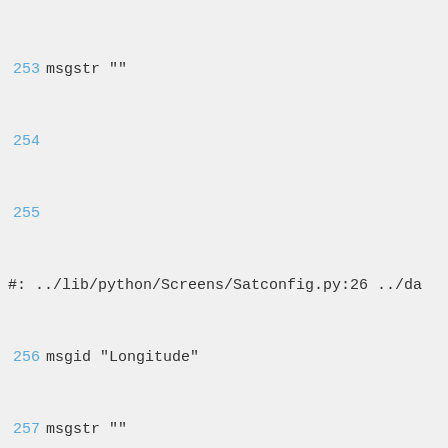253 msgstr ""
254
255
#: ../lib/python/Screens/Satconfig.py:26 ../da
256 msgid "Longitude"
257 msgstr ""
258
259
#: ../lib/python/Components/NimManager.py:409
260 msgid "Loopthrough to Socket A"
261 msgstr ""
262
263
#: ../lib/python/Screens/HarddiskSetup.py:28
264 msgid "Model: "
265 msgstr ""
266
267
#: ../lib/python/Screens/ScanSetup.py:117
268